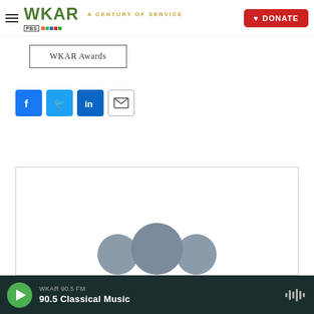WKAR A CENTURY OF SERVICE | DONATE
WKAR Awards
[Figure (other): Social share buttons: Facebook, Twitter, LinkedIn, Email]
[Figure (photo): Content image area with three overlapping circular avatars/person silhouettes at the bottom]
WKAR 90.5 FM | 90.5 Classical Music